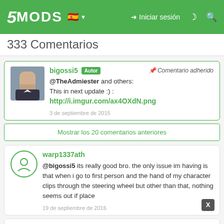5MODS  Iniciar sesión
333 Comentarios
bigossi5 Autor   📌 Comentario adherido
@TheAdmiester and others:
This in next update :) :
http://i.imgur.com/ax4OXdN.png
3 de septiembre de 2015
Mostrar los 20 comentarios anteriores
warp1337ath
@bigossi5 its really good bro. the only issue im having is that when i go to first person and the hand of my character clips through the steering wheel but other than that, nothing seems out if place
19 de septiembre de 2016
freddykruggercor
i installed the tuning parts correctly but they don't show